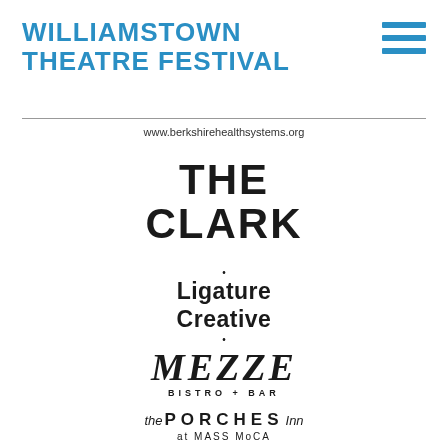[Figure (logo): Williamstown Theatre Festival logo in blue bold uppercase text]
[Figure (logo): Hamburger menu icon with three blue horizontal lines]
www.berkshirehealthsystems.org
[Figure (logo): The Clark logo in large bold black uppercase text]
[Figure (logo): Ligature Creative logo with decorative dots above and below]
[Figure (logo): Mezze Bistro + Bar logo in large italic serif font]
[Figure (logo): The Porches Inn at MASS MoCA logo]